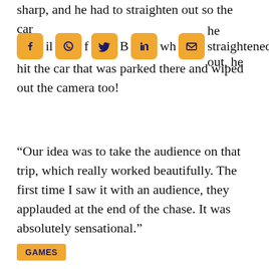sharp, and he had to straighten out so the car [social icons] full f B whe straightened out, he hit the car that was parked there and wiped out the camera too!
[Figure (infographic): Social media share icons row: Facebook, WhatsApp, Twitter, LinkedIn, Email — each as orange rounded square buttons with dark blue icons]
“Our idea was to take the audience on that trip, which really worked beautifully. The first time I saw it with an audience, they applauded at the end of the chase. It was absolutely sensational.”
GAMES